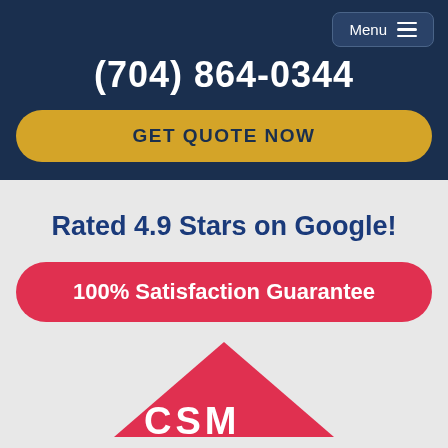Menu
(704) 864-0344
GET QUOTE NOW
Rated 4.9 Stars on Google!
100% Satisfaction Guarantee
[Figure (logo): CSM company logo — red diamond/triangle shape with white letters CSM partially visible at bottom]